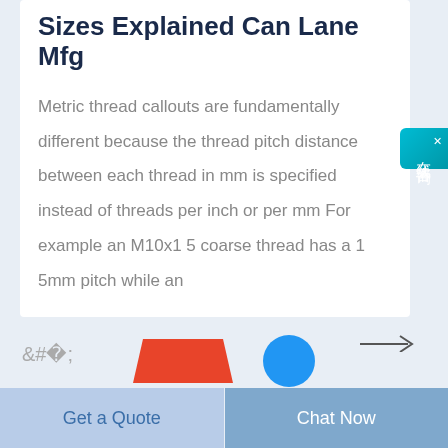Sizes Explained Can Lane Mfg
Metric thread callouts are fundamentally different because the thread pitch distance between each thread in mm is specified instead of threads per inch or per mm For example an M10x1 5 coarse thread has a 1 5mm pitch while an
[Figure (screenshot): Chinese online consultation widget with blue gradient background showing characters 在线咨询 (online consultation) with a close X button]
[Figure (illustration): Navigation arrow pointing right]
[Figure (illustration): Red trapezoidal shape and blue circle icons at bottom of page]
Get a Quote
Chat Now